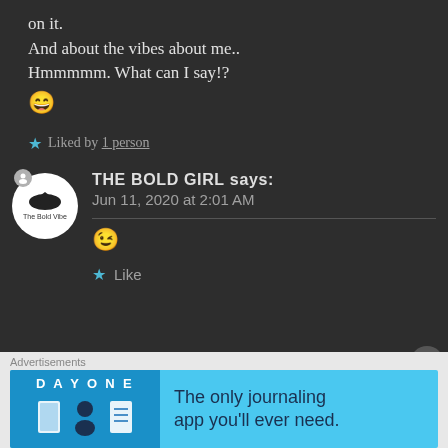on it.
And about the vibes about me..
Hmmmmm. What can I say!?
😄
★ Liked by 1 person
THE BOLD GIRL says:
Jun 11, 2020 at 2:01 AM
😉
★ Like
Advertisements
[Figure (screenshot): DayOne journaling app advertisement banner with text: The only journaling app you'll ever need.]